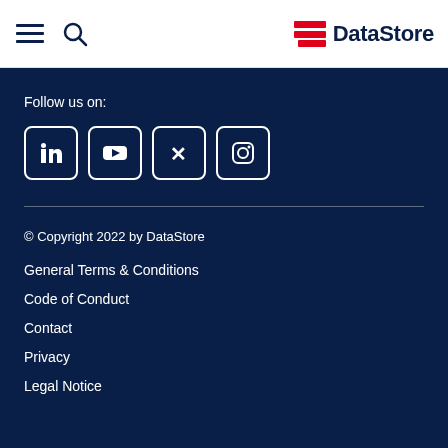DataStore navigation header with hamburger menu, search icon, and DataStore logo
Follow us on:
[Figure (logo): Social media icons: LinkedIn, YouTube, XING, Instagram — white outlined square buttons on dark navy background]
© Copyright 2022 by DataStore
General Terms & Conditions
Code of Conduct
Contact
Privacy
Legal Notice